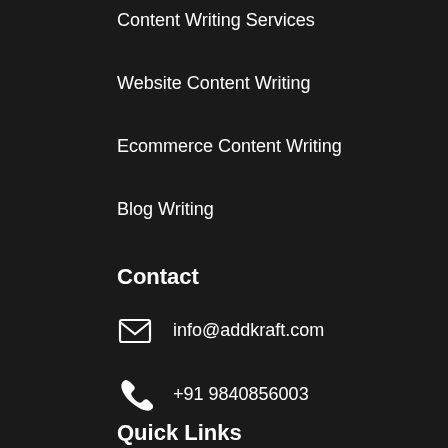Content Writing Services
Website Content Writing
Ecommerce Content Writing
Blog Writing
Contact
info@addkraft.com
+91 9840856003
Quick Links